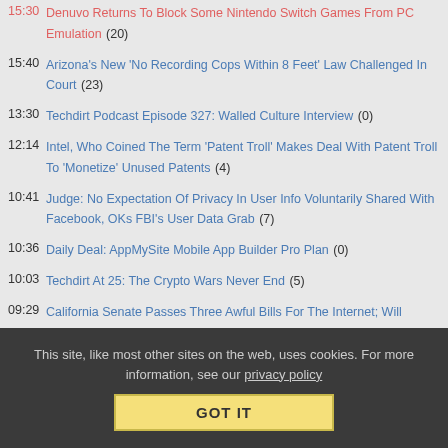15:30 Denuvo Returns To Block Some Nintendo Switch Games From PC Emulation (20)
15:40 Arizona's New 'No Recording Cops Within 8 Feet' Law Challenged In Court (23)
13:30 Techdirt Podcast Episode 327: Walled Culture Interview (0)
12:14 Intel, Who Coined The Term 'Patent Troll' Makes Deal With Patent Troll To 'Monetize' Unused Patents (4)
10:41 Judge: No Expectation Of Privacy In User Info Voluntarily Shared With Facebook, OKs FBI's User Data Grab (7)
10:36 Daily Deal: AppMySite Mobile App Builder Pro Plan (0)
10:03 Techdirt At 25: The Crypto Wars Never End (5)
09:29 California Senate Passes Three Awful Bills For The Internet; Will Newsom Sign Them? (26)
06:24 Data Broker Lobbyists Descend On DC Pushing Loopholes In New Privacy Law (5)
Monday
20:09 Texas Activist Weaponizes Law Requiring Religious Posters In Schools Against Its Fans (133)
This site, like most other sites on the web, uses cookies. For more information, see our privacy policy
GOT IT